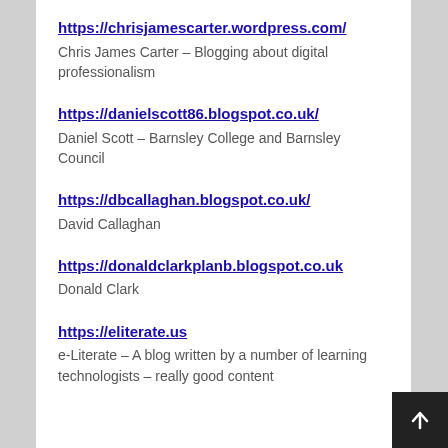https://chrisjamescarter.wordpress.com/
Chris James Carter – Blogging about digital professionalism
https://danielscott86.blogspot.co.uk/
Daniel Scott – Barnsley College and Barnsley Council
https://dbcallaghan.blogspot.co.uk/
David Callaghan
https://donaldclarkplanb.blogspot.co.uk
Donald Clark
https://eliterate.us
e-Literate – A blog written by a number of learning technologists – really good content